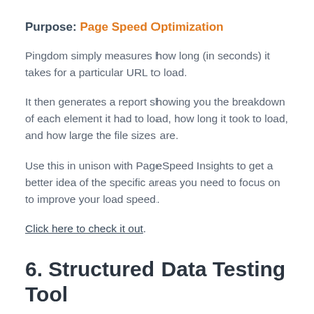Purpose: Page Speed Optimization
Pingdom simply measures how long (in seconds) it takes for a particular URL to load.
It then generates a report showing you the breakdown of each element it had to load, how long it took to load, and how large the file sizes are.
Use this in unison with PageSpeed Insights to get a better idea of the specific areas you need to focus on to improve your load speed.
Click here to check it out.
6. Structured Data Testing Tool